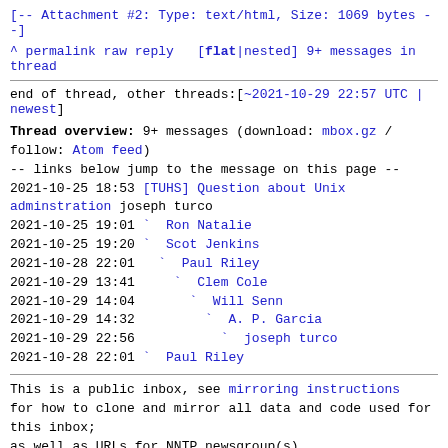[-- Attachment #2: Type: text/html, Size: 1069 bytes --]
^ permalink raw reply   [flat|nested] 9+ messages in thread
end of thread, other threads:[~2021-10-29 22:57 UTC | newest]
Thread overview: 9+ messages (download: mbox.gz / follow: Atom feed)
-- links below jump to the message on this page --
2021-10-25 18:53 [TUHS] Question about Unix adminstration joseph turco
2021-10-25 19:01 ` Ron Natalie
2021-10-25 19:20 ` Scot Jenkins
2021-10-28 22:01   ` Paul Riley
2021-10-29 13:41     ` Clem Cole
2021-10-29 14:04       ` Will Senn
2021-10-29 14:32         ` A. P. Garcia
2021-10-29 22:56           ` joseph turco
2021-10-28 22:01 ` Paul Riley
This is a public inbox, see mirroring instructions for how to clone and mirror all data and code used for this inbox;
as well as URLs for NNTP newsgroup(s).